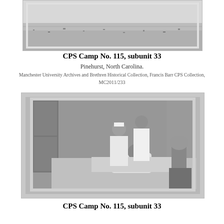[Figure (photo): Black and white photograph (top portion visible) showing an outdoor snowy or sandy scene, partially cropped at top of page]
CPS Camp No. 115, subunit 33
Pinehurst, North Carolina.
Manchester University Archives and Brethren Historical Collection, Francis Barr CPS Collection,
MC2011/233
[Figure (photo): Black and white photograph showing a medical scene: a patient lying in bed, a nurse in white uniform and cap attending to the patient, and a man in white coat standing behind. Patterned wallpaper visible in background, a fan on a bedside table to the right.]
CPS Camp No. 115, subunit 33